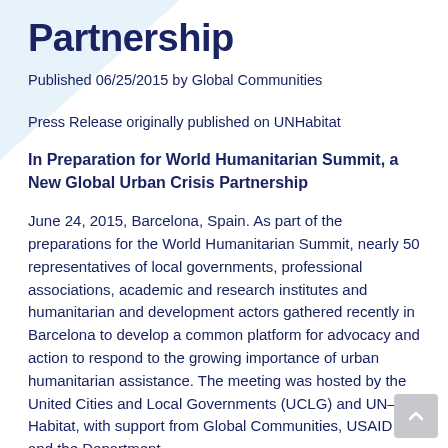Partnership
Published 06/25/2015 by Global Communities
Press Release originally published on UNHabitat
In Preparation for World Humanitarian Summit, a New Global Urban Crisis Partnership
June 24, 2015, Barcelona, Spain. As part of the preparations for the World Humanitarian Summit, nearly 50 representatives of local governments, professional associations, academic and research institutes and humanitarian and development actors gathered recently in Barcelona to develop a common platform for advocacy and action to respond to the growing importance of urban humanitarian assistance. The meeting was hosted by the United Cities and Local Governments (UCLG) and UN–Habitat, with support from Global Communities, USAID and the Department